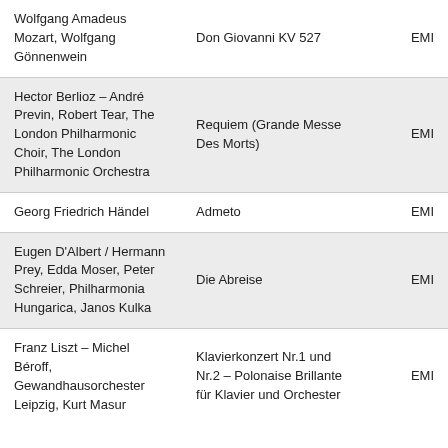| Wolfgang Amadeus Mozart, Wolfgang Gönnenwein | Don Giovanni KV 527 | EMI |
| Hector Berlioz – André Previn, Robert Tear, The London Philharmonic Choir, The London Philharmonic Orchestra | Requiem (Grande Messe Des Morts) | EMI |
| Georg Friedrich Händel | Admeto | EMI |
| Eugen D'Albert / Hermann Prey, Edda Moser, Peter Schreier, Philharmonia Hungarica, Janos Kulka | Die Abreise | EMI |
| Franz Liszt – Michel Béroff, Gewandhausorchester Leipzig, Kurt Masur | Klavierkonzert Nr.1 und Nr.2 – Polonaise Brillante für Klavier und Orchester | EMI |